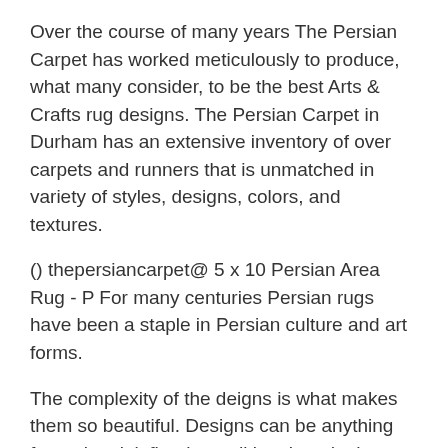Over the course of many years The Persian Carpet has worked meticulously to produce, what many consider, to be the best Arts & Crafts rug designs. The Persian Carpet in Durham has an extensive inventory of over carpets and runners that is unmatched in variety of styles, designs, colors, and textures.
() thepersiancarpet@ 5 x 10 Persian Area Rug - P For many centuries Persian rugs have been a staple in Persian culture and art forms.
The complexity of the deigns is what makes them so beautiful. Designs can be anything from pictorial, florals, traditional, and other various styles.
Their beauty captures the traditions of Iran throughout history. Ending Today at PM PDT 4h 14m. Watch. ANTIQUE S/W PERSEN AVSHAR LITTLE CHANTEH BAG RUG 11" X 12" Persian Area Rugs. Tribal Area Rugs. Persian Hand-Knotted Area Rugs Make an Offer. Fantastic